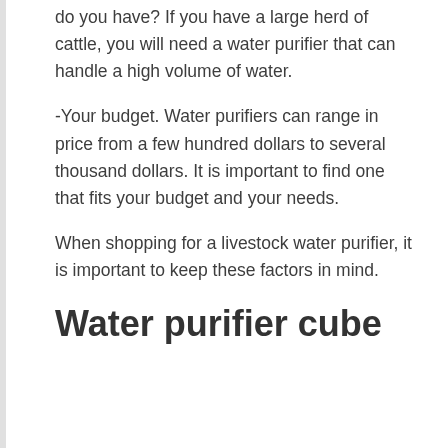do you have? If you have a large herd of cattle, you will need a water purifier that can handle a high volume of water.
-Your budget. Water purifiers can range in price from a few hundred dollars to several thousand dollars. It is important to find one that fits your budget and your needs.
When shopping for a livestock water purifier, it is important to keep these factors in mind.
Water purifier cube